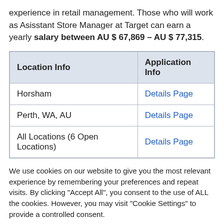experience in retail management. Those who will work as Asisstant Store Manager at Target can earn a yearly salary between AU $ 67,869 – AU $ 77,315.
| Location Info | Application Info |
| --- | --- |
| Horsham | Details Page |
| Perth, WA, AU | Details Page |
| All Locations (6 Open Locations) | Details Page |
We use cookies on our website to give you the most relevant experience by remembering your preferences and repeat visits. By clicking "Accept All", you consent to the use of ALL the cookies. However, you may visit "Cookie Settings" to provide a controlled consent.